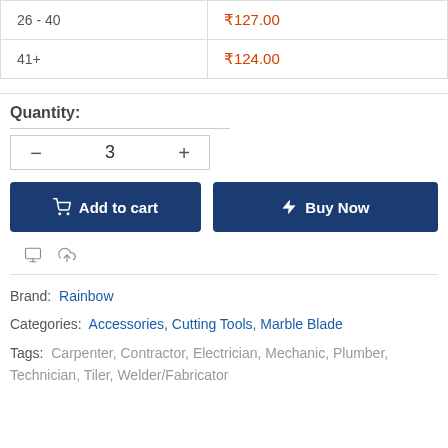| Quantity Range | Price |
| --- | --- |
| 26 - 40 | ₹127.00 |
| 41+ | ₹124.00 |
Quantity:
3
Add to cart
Buy Now
Brand:  Rainbow
Categories:  Accessories, Cutting Tools, Marble Blade
Tags:  Carpenter, Contractor, Electrician, Mechanic, Plumber, Technician, Tiler, Welder/Fabricator